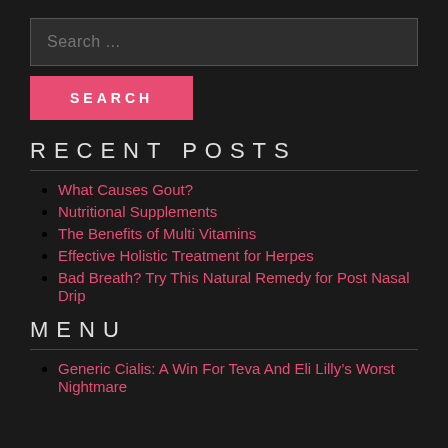Search ...
SEARCH
RECENT POSTS
What Causes Gout?
Nutritional Supplements
The Benefits of Multi Vitamins
Effective Holistic Treatment for Herpes
Bad Breath? Try This Natural Remedy for Post Nasal Drip
MENU
Generic Cialis: A Win For Teva And Eli Lilly's Worst Nightmare